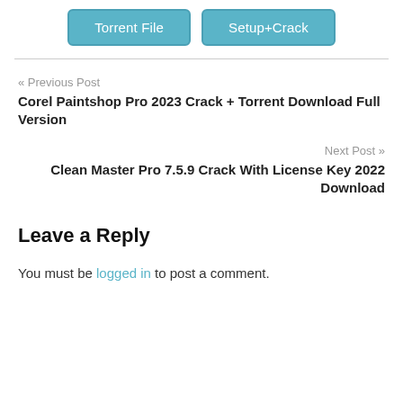[Figure (other): Two buttons side by side: 'Torrent File' and 'Setup+Crack', both styled as teal/blue rounded buttons with white text.]
« Previous Post
Corel Paintshop Pro 2023 Crack + Torrent Download Full Version
Next Post »
Clean Master Pro 7.5.9 Crack With License Key 2022 Download
Leave a Reply
You must be logged in to post a comment.